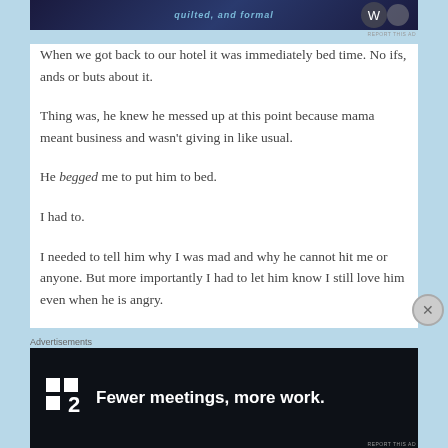[Figure (other): Top advertisement banner with dark blue background and decorative text]
When we got back to our hotel it was immediately bed time. No ifs, ands or buts about it.
Thing was, he knew he messed up at this point because mama meant business and wasn't giving in like usual.
He begged me to put him to bed.
I had to.
I needed to tell him why I was mad and why he cannot hit me or anyone. But more importantly I had to let him know I still love him even when he is angry.
[Figure (other): Bottom advertisement banner: dark background with Fewer meetings, more work. text and P2 logo]